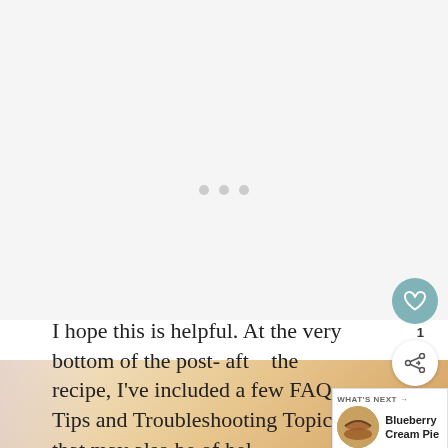[Figure (photo): Large light gray/white placeholder area with three small gray dots centered, representing a loading or placeholder image area]
I hope this is helpful. At the very bottom of the post- after the recipe, I've included a few FAQ, Tips and Troubleshooting Topics that may also be of help.
[Figure (infographic): What's Next navigation widget showing a circular thumbnail of a Blueberry Cream Pie with label 'WHAT'S NEXT →' and title 'Blueberry Cream Pie']
[Figure (photo): Partial bottom image showing what appears to be a baked dessert or food item in warm brown/golden tones]